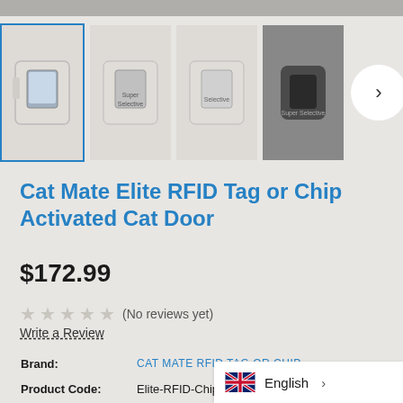[Figure (screenshot): Product image thumbnail strip showing 4 cat door product images and a next arrow button, with the first thumbnail selected (blue border). Hamburger menu button on blue background top left.]
Cat Mate Elite RFID Tag or Chip Activated Cat Door
$172.99
★★★★★ (No reviews yet)
Write a Review
| Label | Value |
| --- | --- |
| Brand: | CAT MATE RFID TAG OR CHIP |
| Product Code: | Elite-RFID-Chip |
| Elite Model: | Required |